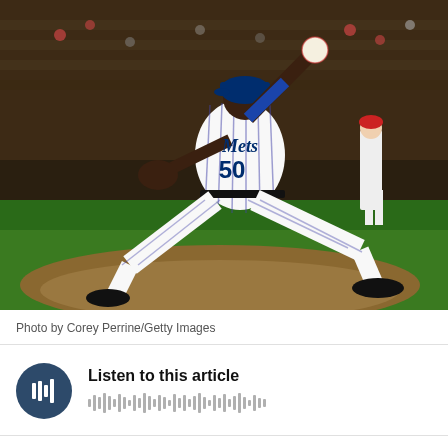[Figure (photo): A New York Mets pitcher wearing number 50 in a white pinstripe uniform, mid-delivery on the pitcher's mound at night. The player is in a dramatic low stretch pose releasing a baseball. Stadium crowd visible in background.]
Photo by Corey Perrine/Getty Images
[Figure (other): Audio player widget with dark circular play button showing waveform icon and text 'Listen to this article' with audio waveform graphic below]
Two weeks ago, I wrote about how baseball fans are